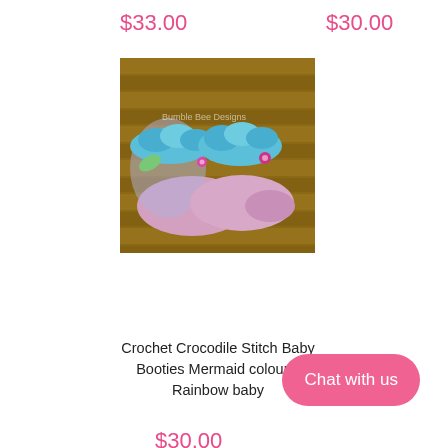$33.00
$30.00
[Figure (photo): Crochet crocodile stitch baby booties in mermaid/rainbow colours, photographed on wooden slats. The booties are pink/purple at the base with blue-green scalloped crochet top cuffs, featuring decorative buttons.]
Crochet Crocodile Stitch Baby Booties Mermaid colours, Rainbow baby
Chat with us
$30.00